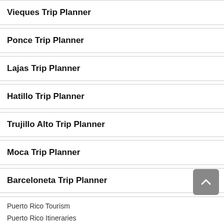Vieques Trip Planner
Ponce Trip Planner
Lajas Trip Planner
Hatillo Trip Planner
Trujillo Alto Trip Planner
Moca Trip Planner
Barceloneta Trip Planner
Puerto Rico Tourism
Puerto Rico Itineraries